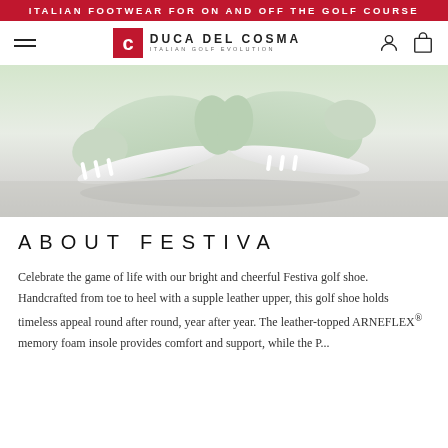ITALIAN FOOTWEAR FOR ON AND OFF THE GOLF COURSE
[Figure (logo): Duca Del Cosma logo — red square with stylized C, brand name and tagline 'ITALIAN GOLF EVOLUTION']
[Figure (photo): Close-up product photo of light mint/sage green leather golf shoes on a white/grey surface, viewed from below at an angle]
ABOUT FESTIVA
Celebrate the game of life with our bright and cheerful Festiva golf shoe. Handcrafted from toe to heel with a supple leather upper, this golf shoe holds timeless appeal round after round, year after year. The leather-topped ARNEFLEX® memory foam insole provides comfort and support, while the P...